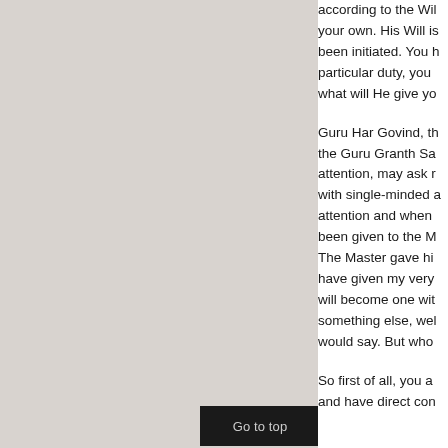according to the Will of God, not according to your own. His Will is supreme. You have been initiated. You have been given a particular duty, you are a trustee. Then what will He give you?
Guru Har Govind, the sixth Guru, said that the Guru Granth Sahib should receive attention, may ask many things and you with single-minded attention and when attention and when been given to the Master. The Master gave him have given my very will become one with something else, well would say. But who
So first of all, you and have direct con